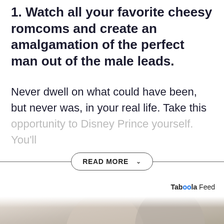1. Watch all your favorite cheesy romcoms and create an amalgamation of the perfect man out of the male leads.
Never dwell on what could have been, but never was, in your real life. Take this opportunity to Disney Prince yourself. You'll
READ MORE
Taboola Feed
[Figure (photo): A man and woman smiling at each other in a romantic pose, fading into white at the edges]